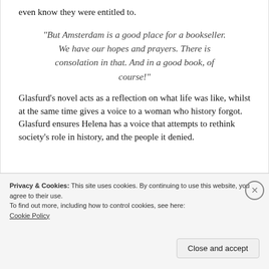even know they were entitled to.
“But Amsterdam is a good place for a bookseller. We have our hopes and prayers. There is consolation in that. And in a good book, of course!”
Glasfurd’s novel acts as a reflection on what life was like, whilst at the same time gives a voice to a woman who history forgot. Glasfurd ensures Helena has a voice that attempts to rethink society’s role in history, and the people it denied.
Privacy & Cookies: This site uses cookies. By continuing to use this website, you agree to their use.
To find out more, including how to control cookies, see here: Cookie Policy
Close and accept